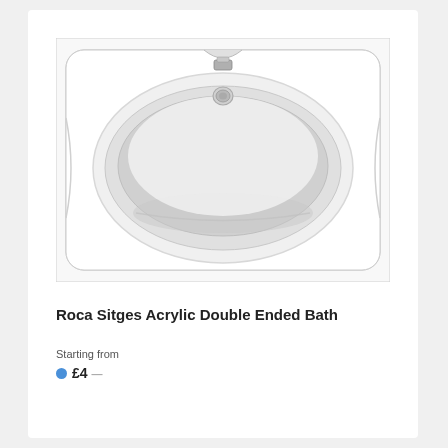[Figure (photo): Top-down view of a white acrylic double ended bathtub with chrome tap/filler fitting in the center top and a chrome overflow drain slightly below it. The tub has a smooth oval interior basin with rounded rectangular outer shape.]
Roca Sitges Acrylic Double Ended Bath
Starting from